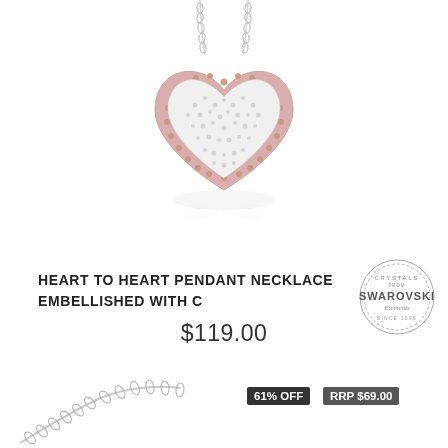[Figure (photo): Heart-shaped pendant necklace with rose gold border and crystal pave center, hanging on a silver chain, shown with reflection]
[Figure (logo): Circular Crystals from Swarovski Elements badge/seal in grey]
HEART TO HEART PENDANT NECKLACE EMBELLISHED WITH C
$119.00
[Figure (photo): Silver chain necklace shown at bottom of page]
61% OFF
RRP $69.00